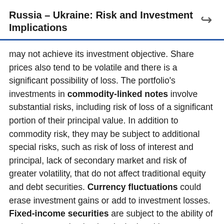Russia – Ukraine: Risk and Investment Implications
may not achieve its investment objective. Share prices also tend to be volatile and there is a significant possibility of loss. The portfolio's investments in commodity-linked notes involve substantial risks, including risk of loss of a significant portion of their principal value. In addition to commodity risk, they may be subject to additional special risks, such as risk of loss of interest and principal, lack of secondary market and risk of greater volatility, that do not affect traditional equity and debt securities. Currency fluctuations could erase investment gains or add to investment losses. Fixed-income securities are subject to the ability of an issuer to make timely principal and interest payments (credit risk), changes in interest rates (interest-rate risk), the creditworthiness of the issuer and general market liquidity (market risk). In a rising